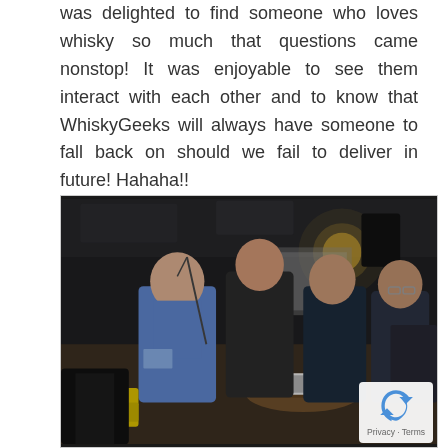was delighted to find someone who loves whisky so much that questions came nonstop! It was enjoyable to see them interact with each other and to know that WhiskyGeeks will always have someone to fall back on should we fail to deliver in future! Hahaha!!
[Figure (photo): A group of four people — one in a blue polo shirt, one in a dark shirt, and two others — gathered around a round table in a dimly lit bar or lounge setting, appearing to discuss something. There is a laptop on the table and bottles visible. A yellow object is visible in the foreground.]